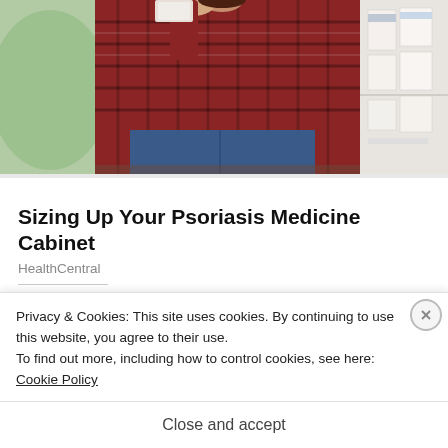[Figure (photo): Woman in red plaid shirt crouching in a pharmacy/store aisle, looking at products on a shelf. Store shelves visible in background on the right.]
Sizing Up Your Psoriasis Medicine Cabinet
HealthCentral
Share this:
Twitter
Facebook
Like
Privacy & Cookies: This site uses cookies. By continuing to use this website, you agree to their use.
To find out more, including how to control cookies, see here: Cookie Policy
Close and accept